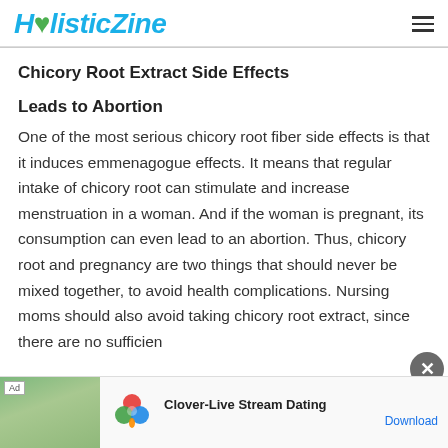HolisticZine
Chicory Root Extract Side Effects
Leads to Abortion
One of the most serious chicory root fiber side effects is that it induces emmenagogue effects. It means that regular intake of chicory root can stimulate and increase menstruation in a woman. And if the woman is pregnant, its consumption can even lead to an abortion. Thus, chicory root and pregnancy are two things that should never be mixed together, to avoid health complications. Nursing moms should also avoid taking chicory root extract, since there are no sufficien
[Figure (screenshot): Advertisement banner for Clover-Live Stream Dating app with photo of a woman outdoors, the Clover app logo (colorful clover), app name 'Clover-Live Stream Dating', and a Download link]